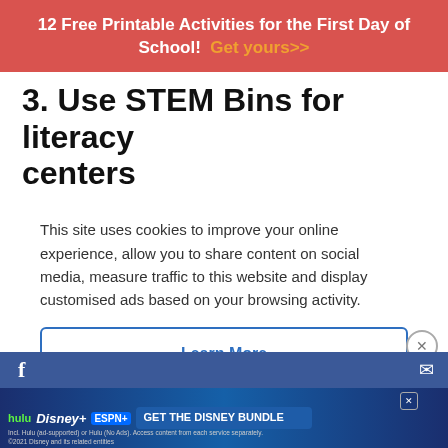12 Free Printable Activities for the First Day of School!  Get yours>>
3. Use STEM Bins for literacy centers
This site uses cookies to improve your online experience, allow you to share content on social media, measure traffic to this website and display customised ads based on your browsing activity.
Learn More
Accept
an automatic "prompt." Younger students can write words and sentences about their structures, while older students can write descriptions
[Figure (screenshot): Disney Bundle advertisement banner with Hulu, Disney+, ESPN+ logos and GET THE DISNEY BUNDLE call to action]